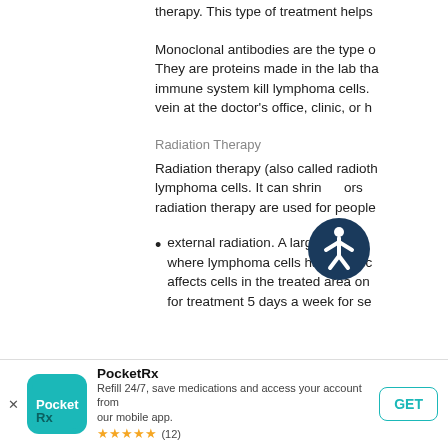therapy. This type of treatment helps
Monoclonal antibodies are the type of... They are proteins made in the lab that... immune system kill lymphoma cells. vein at the doctor's office, clinic, or h
Radiation Therapy
Radiation therapy (also called radiotherapy) kills lymphoma cells. It can shrink tumors. radiation therapy are used for people
external radiation. A large machine... where lymphoma cells have collected... affects cells in the treated area only... for treatment 5 days a week for se
[Figure (other): Accessibility icon - circular badge with person figure in white on dark teal/navy background]
PocketRx - Refill 24/7, save medications and access your account from our mobile app. ★★★★★ (12)